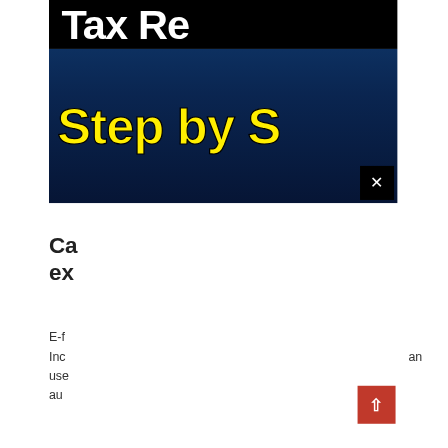[Figure (screenshot): Book or website banner with black top strip showing 'Tax Re' in large white bold text, and dark blue gradient section below with 'Step by S' in large yellow bold text with black outline. A black close button with white X is visible at bottom right of the banner.]
Ca
ex
E-f
Inc
use
au